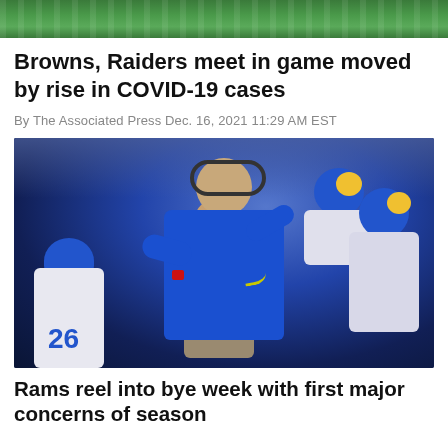[Figure (photo): Top portion of a football field or stadium image, cropped, showing green turf and white markings at top]
Browns, Raiders meet in game moved by rise in COVID-19 cases
By The Associated Press Dec. 16, 2021 11:29 AM EST
[Figure (photo): Photo of an NFL coach in a blue Los Angeles Rams pullover wearing a headset, arms folded, with players in Rams helmets (blue and gold) visible behind him. Player number 26 is visible at left.]
Rams reel into bye week with first major concerns of season